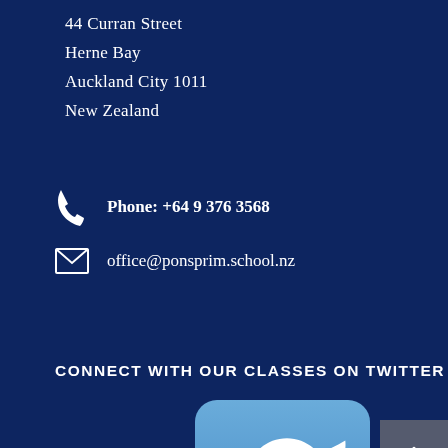44 Curran Street
Herne Bay
Auckland City 1011
New Zealand
Phone: +64 9 376 3568
office@ponsprim.school.nz
CONNECT WITH OUR CLASSES ON TWITTER
[Figure (logo): Twitter bird logo on a rounded blue rectangle button]